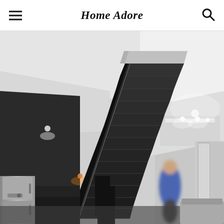Home Adore
[Figure (photo): Interior architectural photo showing a dramatic black floating staircase in a modern home, with white ceilings and a blurred person walking up the stairs. The kitchen area with a stainless steel refrigerator is visible on the lower left, and a bright living room with recessed lighting is visible on the right.]